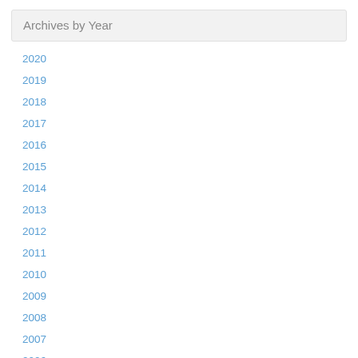Archives by Year
2020
2019
2018
2017
2016
2015
2014
2013
2012
2011
2010
2009
2008
2007
2006
2005
Categories